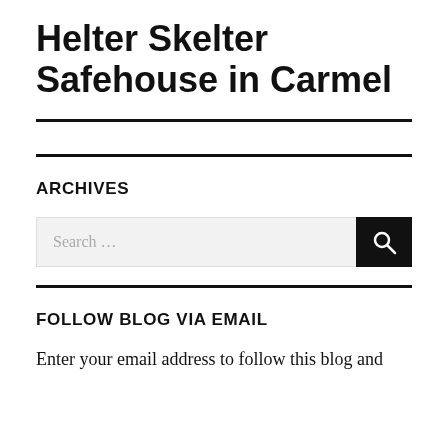Helter Skelter Safehouse in Carmel
ARCHIVES
[Figure (other): Search bar with text input field showing placeholder 'Search …' and a black search button with magnifying glass icon]
FOLLOW BLOG VIA EMAIL
Enter your email address to follow this blog and receive notifications of new posts by email.